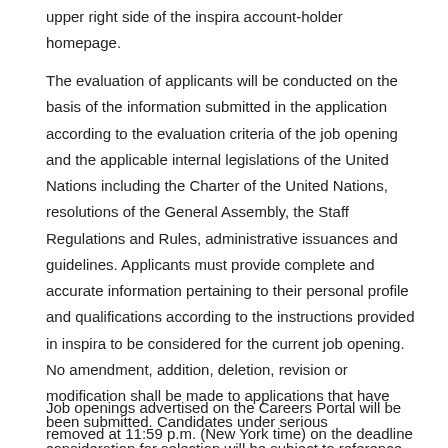upper right side of the inspira account-holder homepage.
The evaluation of applicants will be conducted on the basis of the information submitted in the application according to the evaluation criteria of the job opening and the applicable internal legislations of the United Nations including the Charter of the United Nations, resolutions of the General Assembly, the Staff Regulations and Rules, administrative issuances and guidelines. Applicants must provide complete and accurate information pertaining to their personal profile and qualifications according to the instructions provided in inspira to be considered for the current job opening. No amendment, addition, deletion, revision or modification shall be made to applications that have been submitted. Candidates under serious consideration for selection will be subject to reference checks to verify the information provided in the application.
Job openings advertised on the Careers Portal will be removed at 11:59 p.m. (New York time) on the deadline date.